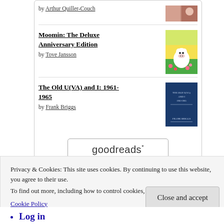by Arthur Quiller-Couch
Moomin: The Deluxe Anniversary Edition
by Tove Jansson
The Old U(VA) and I: 1961-1965
by Frank Briggs
[Figure (logo): Goodreads logo button with rounded rectangle border]
Privacy & Cookies: This site uses cookies. By continuing to use this website, you agree to their use.
To find out more, including how to control cookies, see here:
Cookie Policy
Close and accept
Log in